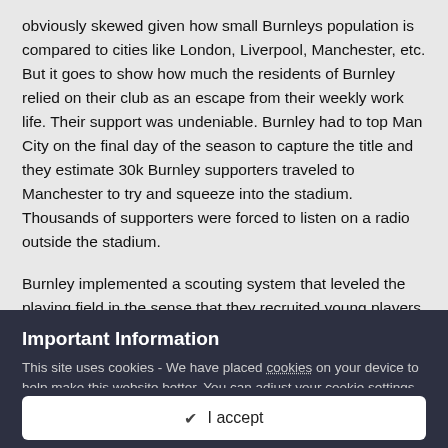obviously skewed given how small Burnleys population is compared to cities like London, Liverpool, Manchester, etc. But it goes to show how much the residents of Burnley relied on their club as an escape from their weekly work life. Their support was undeniable. Burnley had to top Man City on the final day of the season to capture the title and they estimate 30k Burnley supporters traveled to Manchester to try and squeeze into the stadium. Thousands of supporters were forced to listen on a radio outside the stadium.
Burnley implemented a scouting system that leveled the playing field in the sense that they recruited young players for cheap and a lot of them made their way into the first team. Their chief scout Jack Hixon was known for unearthing talents in the north east of England. Jimmy Adamson, the Burnley captain, was one such player,
Important Information
This site uses cookies - We have placed cookies on your device to help make this website better. You can adjust your cookie settings, otherwise we'll assume you're okay to continue.
✔  I accept